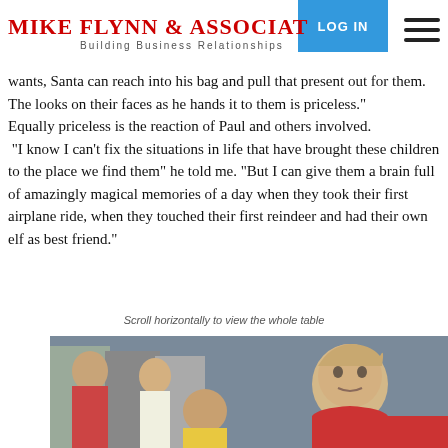Mike Flynn & Associates — Building Business Relationships — LOG IN
from that list. So as each child tells Santa what he or she wants, Santa can reach into his bag and pull that present out for them. The looks on their faces as he hands it to them is priceless."
Equally priceless is the reaction of Paul and others involved.
 "I know I can't fix the situations in life that have brought these children to the place we find them" he told me. "But I can give them a brain full of amazingly magical memories of a day when they took their first airplane ride, when they touched their first reindeer and had their own elf as best friend."
Scroll horizontally to view the whole table
[Figure (photo): Children sitting on an airplane; a young boy in a red jacket is visible in the foreground, with other passengers behind.]